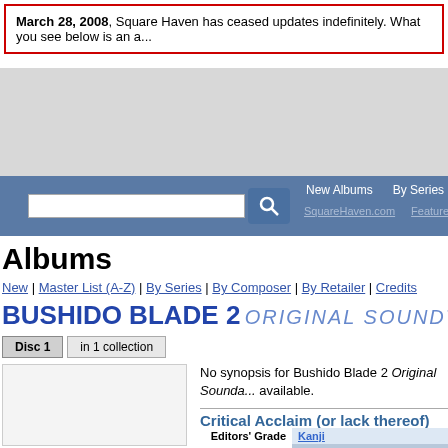March 28, 2008, Square Haven has ceased updates indefinitely. What you see below is an a...
[Figure (other): Advertisement/banner area (gray placeholder)]
New Albums | By Series | By Composer | By Re... | SquareHaven.com | Features | Albums | Bush...
Albums
New | Master List (A-Z) | By Series | By Composer | By Retailer | Credits
BUSHIDO BLADE 2 ORIGINAL SOUNDTRACK
Disc 1  in 1 collection
No synopsis for Bushido Blade 2 Original Soundtrack available.
Critical Acclaim (or lack thereof)
|  |  |
| --- | --- |
| Editors' Grade | Kanji |
| Readers' Grade
None | No Reader Reviews
No grades
Register or Login to review this alb... |